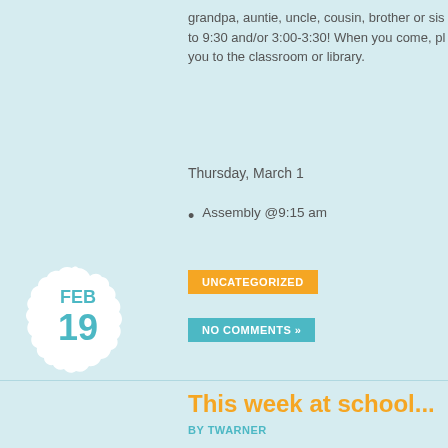grandpa, auntie, uncle, cousin, brother or sister to 9:30 and/or 3:00-3:30! When you come, please come to the classroom or library.
Thursday, March 1
Assembly @9:15 am
UNCATEGORIZED
NO COMMENTS »
This week at school...
BY TWARNER
Wednesday, Feb.  21
Poetry Day!  Read, write and share some wo...